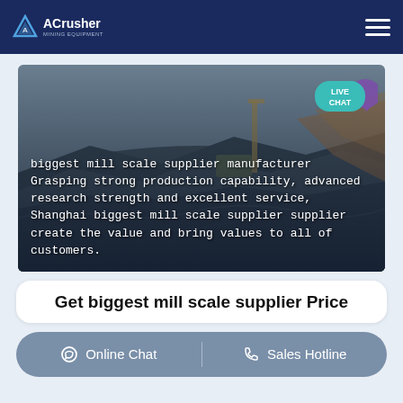ACrusher - Mining Equipment
[Figure (photo): Aerial view of a large open-pit mining operation with heavy equipment and excavated terrain. Overlaid with white text describing biggest mill scale supplier manufacturer.]
biggest mill scale supplier manufacturer Grasping strong production capability, advanced research strength and excellent service, Shanghai biggest mill scale supplier supplier create the value and bring values to all of customers.
Get biggest mill scale supplier Price
Online Chat | Sales Hotline